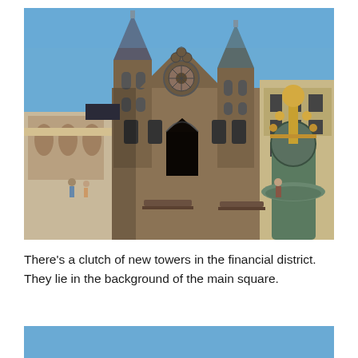[Figure (photo): Photograph of the Binnenhof in The Hague, Netherlands. A Gothic medieval building with two towers and a large rose window in the center facade faces a cobblestone courtyard. A golden ornate fountain stands on the right side. Blue sky overhead, benches in the foreground, classical buildings on the sides.]
There's a clutch of new towers in the financial district. They lie in the background of the main square.
[Figure (other): Blue colored rectangle/bar at the bottom of the page, partially visible.]